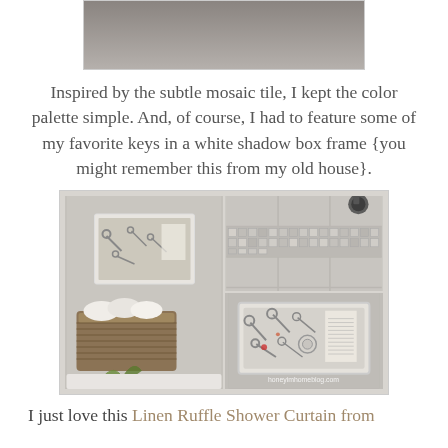[Figure (photo): Top portion of a bathroom photo with honeyimhomeblog.com watermark, showing dark background]
Inspired by the subtle mosaic tile, I kept the color palette simple. And, of course, I had to feature some of my favorite keys in a white shadow box frame {you might remember this from my old house}.
[Figure (photo): Collage of three bathroom photos: left shows a white shadow box frame with keys on the wall and a wicker basket with rolled towels; upper right shows mosaic tile and shower head; lower right is a close-up of the shadow box frame with keys, with honeyimhomeblog.com watermark]
I just love this Linen Ruffle Shower Curtain from